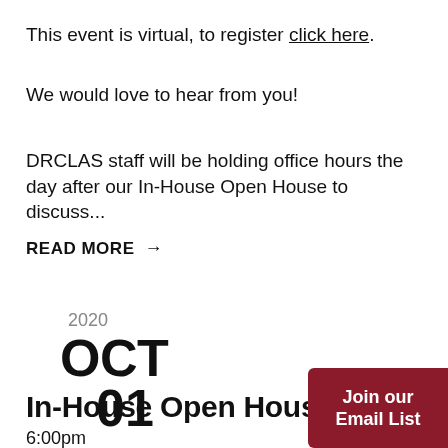This event is virtual, to register click here.
We would love to hear from you!
DRCLAS staff will be holding office hours the day after our In-House Open House to discuss...
READ MORE →
2020
OCT
01
In-House Open House
6:00pm
Join our Email List